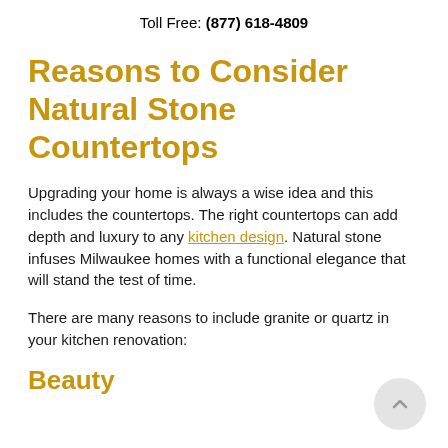Toll Free: (877) 618-4809
Reasons to Consider Natural Stone Countertops
Upgrading your home is always a wise idea and this includes the countertops. The right countertops can add depth and luxury to any kitchen design. Natural stone infuses Milwaukee homes with a functional elegance that will stand the test of time.
There are many reasons to include granite or quartz in your kitchen renovation:
Beauty